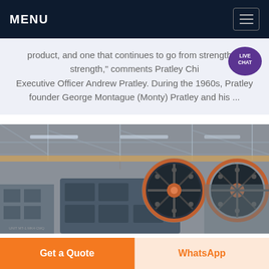MENU
product, and one that continues to go from strength to strength," comments Pratley Chief Executive Officer Andrew Pratley. During the 1960s, Pratley founder George Montague (Monty) Pratley and his ...
[Figure (photo): Industrial manufacturing facility showing heavy machinery — a large jaw crusher or similar industrial equipment with prominent flywheel/pulley wheels in orange/rust color, set inside a large factory/warehouse with overhead cranes and steel structure roof.]
Get a Quote
WhatsApp